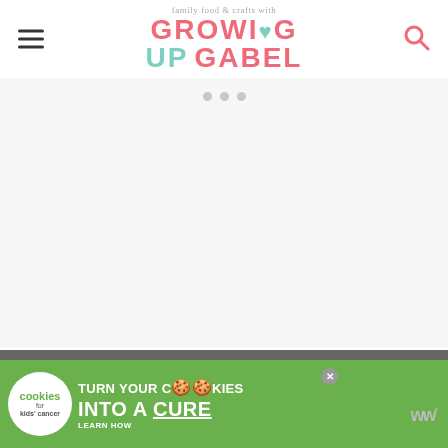family food & crafts with GROWING UP GABEL
[Figure (other): Blank/white advertisement placeholder area with three small dots indicating a slideshow or carousel control]
To make beer brat kebabs start by cutting each brat into 3 equal size pieces.
[Figure (other): Cookies for Kids' Cancer advertisement banner: green background with white cookie logo, text 'turn your COOKIES into a CURE LEARN HOW', and a close button]